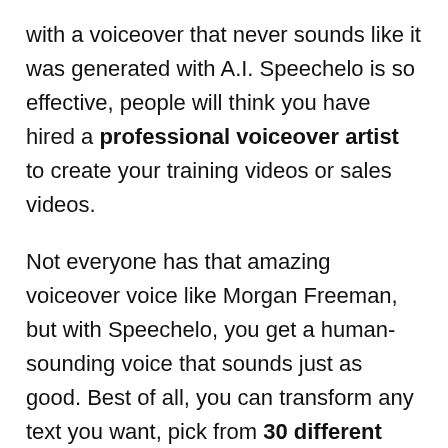with a voiceover that never sounds like it was generated with A.I. Speechelo is so effective, people will think you have hired a professional voiceover artist to create your training videos or sales videos.
Not everyone has that amazing voiceover voice like Morgan Freeman, but with Speechelo, you get a human-sounding voice that sounds just as good. Best of all, you can transform any text you want, pick from 30 different voices both male and female, and create voiceovers in more than 23 languages.
A good voiceover must sound human